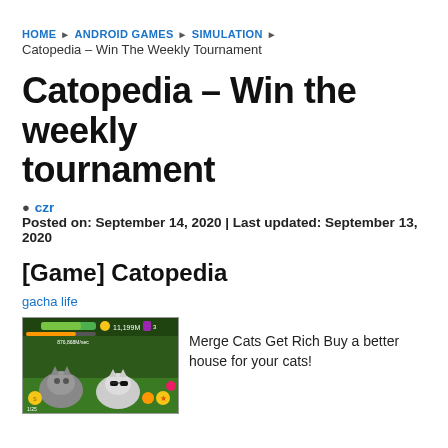HOME › ANDROID GAMES › SIMULATION ›
Catopedia – Win The Weekly Tournament
Catopedia – Win the weekly tournament
czr   Posted on: September 14, 2020 | Last updated: September 13, 2020
[Game] Catopedia
gacha life
[Figure (screenshot): Screenshot of Catopedia mobile game showing cats and game UI with health bars and currency]
Merge Cats Get Rich Buy a better house for your cats!